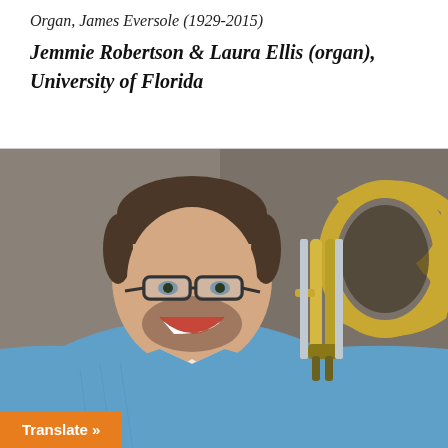Organ, James Eversole (1929-2015)
Jemmie Robertson & Laura Ellis (organ), University of Florida
[Figure (photo): A smiling man with short brown hair, glasses, a blue button-down shirt, holding a brass trombone instrument against a gray-brown background. An orange 'Translate »' button appears in the lower left corner.]